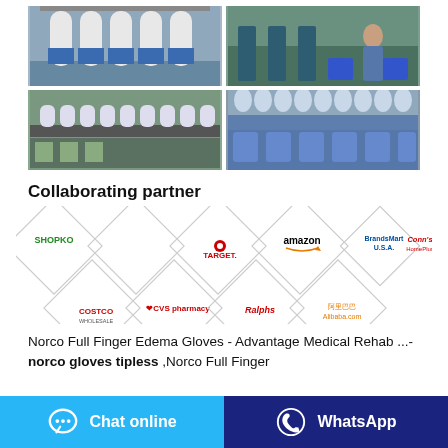[Figure (photo): Four factory photos showing gloves being manufactured and dipped on production lines]
Collaborating partner
[Figure (infographic): Diamond-shaped logos grid showing collaborating partners: Shopko, Target, Amazon, BrandsMart USA, Conn's HomePlus, Costco, CVS pharmacy, Ralphs, Alibaba.com]
Norco Full Finger Edema Gloves - Advantage Medical Rehab ...- norco gloves tipless ,Norco Full Finger